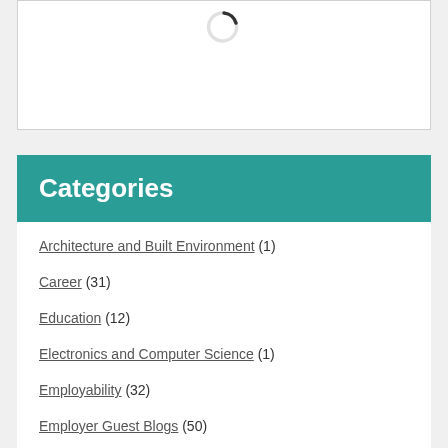[Figure (other): Loading spinner icon partially visible at top of white box]
Categories
Architecture and Built Environment (1)
Career (31)
Education (12)
Electronics and Computer Science (1)
Employability (32)
Employer Guest Blogs (50)
Enterprise and Entrepreneurship (1)
General (158)
Get Ahead (9)
Graduate (12)
Humanities and... (1)